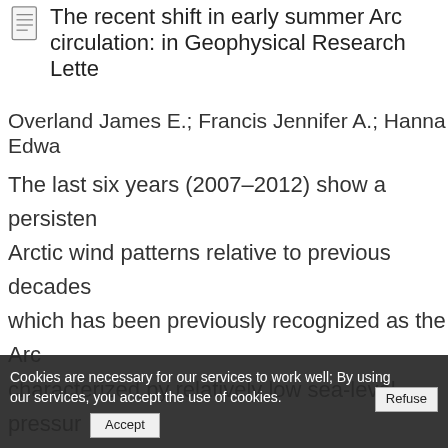The recent shift in early summer Arctic atmospheric circulation: in Geophysical Research Letters
Overland James E.; Francis Jennifer A.; Hanna Edward...
The last six years (2007–2012) show a persistent change in Arctic wind patterns relative to previous decades which has been previously recognized as the Arctic Dipole Anomaly (ADA), characterized by relatively low sea-level pressure in the Russian Arctic and high pressure over the Beaufort Sea, extending across North America and over Greenland. Pressure differences are examined for a proximate cause for the newly persistent ADA. A composite 700 m a geopotential height field and ... positive ...
Cookies are necessary for our services to work well; By using our services, you accept the use of cookies.